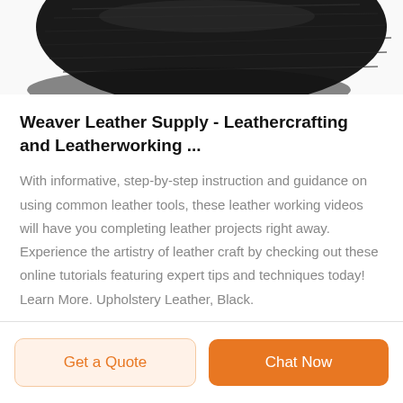[Figure (photo): Partial view of a dark black leather item (appears to be upholstery leather or a leather cap) cropped at the top of the page]
Weaver Leather Supply - Leathercrafting and Leatherworking ...
With informative, step-by-step instruction and guidance on using common leather tools, these leather working videos will have you completing leather projects right away. Experience the artistry of leather craft by checking out these online tutorials featuring expert tips and techniques today! Learn More. Upholstery Leather, Black.
Get a Quote
Chat Now